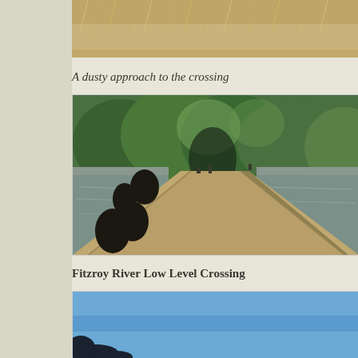[Figure (photo): Partial top photo showing dusty dry landscape with dried grasses, cropped at top of page]
A dusty approach to the crossing
[Figure (photo): Fitzroy River low level crossing showing a narrow concrete causeway road crossing a wide shallow river, with green trees on the far bank and birds near the water's edge]
Fitzroy River Low Level Crossing
[Figure (photo): Partial bottom photo showing blue sky, beginning of another river or landscape photo]